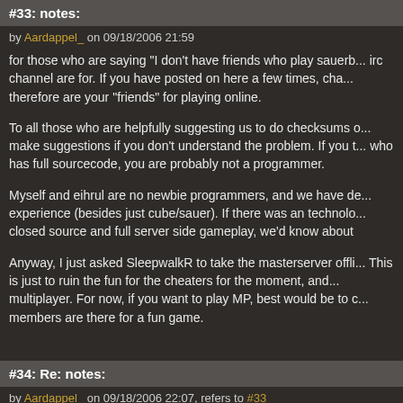#33: notes:
by Aardappel_ on 09/18/2006 21:59
for those who are saying "I don't have friends who play sauerb... irc channel are for. If you have posted on here a few times, cha... therefore are your "friends" for playing online.
To all those who are helpfully suggesting us to do checksums o... make suggestions if you don't understand the problem. If you t... who has full sourcecode, you are probably not a programmer.
Myself and eihrul are no newbie programmers, and we have de... experience (besides just cube/sauer). If there was an technolo... closed source and full server side gameplay, we'd know about
Anyway, I just asked SleepwalkR to take the masterserver offli... This is just to ruin the fun for the cheaters for the moment, and... multiplayer. For now, if you want to play MP, best would be to c... members are there for a fun game.
#34: Re: notes:
by Aardappel_ on 09/18/2006 22:07, refers to #33
oh, and for server operaters: if you run your server on a fixed I... get to your server without the masterserver. So prefer to play y...